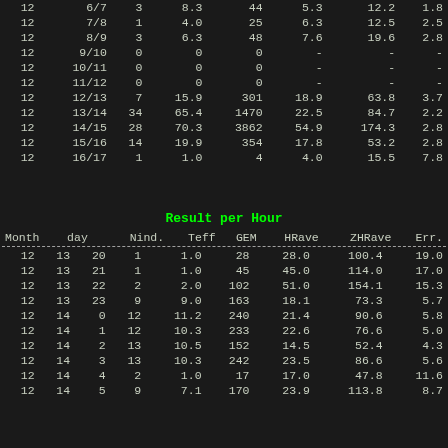|  |  |  |  |  |  |  |  |
| --- | --- | --- | --- | --- | --- | --- | --- |
| 12 | 6/7 | 3 | 8.3 | 44 | 5.3 | 12.2 | 1.8 |
| 12 | 7/8 | 1 | 4.0 | 25 | 6.3 | 12.5 | 2.5 |
| 12 | 8/9 | 3 | 6.3 | 48 | 7.6 | 19.6 | 2.8 |
| 12 | 9/10 | 0 | 0 | 0 | - | - | - |
| 12 | 10/11 | 0 | 0 | 0 | - | - | - |
| 12 | 11/12 | 0 | 0 | 0 | - | - | - |
| 12 | 12/13 | 7 | 15.9 | 301 | 18.9 | 63.8 | 3.7 |
| 12 | 13/14 | 34 | 65.4 | 1470 | 22.5 | 84.7 | 2.2 |
| 12 | 14/15 | 28 | 70.3 | 3862 | 54.9 | 174.3 | 2.8 |
| 12 | 15/16 | 14 | 19.9 | 354 | 17.8 | 53.2 | 2.8 |
| 12 | 16/17 | 1 | 1.0 | 4 | 4.0 | 15.5 | 7.8 |
Result per Hour
| Month | day | Nind. | Teff | GEM | HRave | ZHRave | Err. |
| --- | --- | --- | --- | --- | --- | --- | --- |
| 12 | 13 | 20 | 1 | 1.0 | 28 | 28.0 | 100.4 | 19.0 |
| 12 | 13 | 21 | 1 | 1.0 | 45 | 45.0 | 114.0 | 17.0 |
| 12 | 13 | 22 | 2 | 2.0 | 102 | 51.0 | 154.1 | 15.3 |
| 12 | 13 | 23 | 9 | 9.0 | 163 | 18.1 | 73.3 | 5.7 |
| 12 | 14 | 0 | 12 | 11.2 | 240 | 21.4 | 90.6 | 5.8 |
| 12 | 14 | 1 | 12 | 10.3 | 233 | 22.6 | 76.6 | 5.0 |
| 12 | 14 | 2 | 13 | 10.5 | 152 | 14.5 | 52.4 | 4.3 |
| 12 | 14 | 3 | 13 | 10.3 | 242 | 23.5 | 86.6 | 5.6 |
| 12 | 14 | 4 | 2 | 1.0 | 17 | 17.0 | 47.8 | 11.6 |
| 12 | 14 | 5 | 9 | 7.1 | 170 | 23.9 | 113.8 | 8.7 |